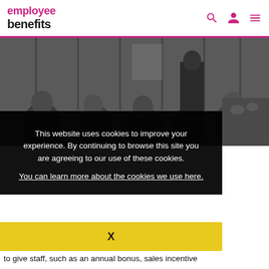employee benefits
[Figure (photo): Black and white photo of people seated at a table or gathering, with food/decorations visible]
This website uses cookies to improve your experience. By continuing to browse this site you are agreeing to our use of these cookies.
You can learn more about the cookies we use here.
X
to give staff, such as an annual bonus, sales incentive